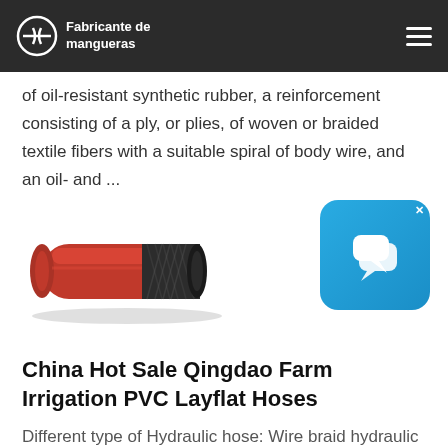Fabricante de mangueras
of oil-resistant synthetic rubber, a reinforcement consisting of a ply, or plies, of woven or braided textile fibers with a suitable spiral of body wire, and an oil- and ...
[Figure (photo): Red hydraulic hose / rubber hose product photo showing coiled red hose with black braided reinforcement section visible at one end]
[Figure (other): Blue chat/messaging app icon button with speech bubble icons and an X close button in the top-right corner]
China Hot Sale Qingdao Farm Irrigation PVC Layflat Hoses
Different type of Hydraulic hose: Wire braid hydraulic hose: SAE 100R1AT/DIN EN853 1SN. SAE